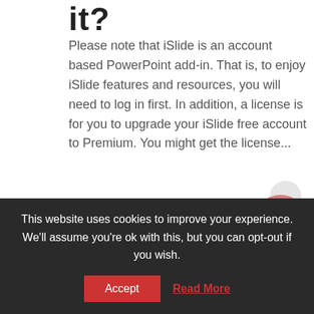it?
Please note that iSlide is an account based PowerPoint add-in. That is, to enjoy iSlide features and resources, you will need to log in first. In addition, a license is for you to upgrade your iSlide free account to Premium. You might get the license...
READ MORE
[Figure (other): Red circular help/question mark button]
This website uses cookies to improve your experience. We'll assume you're ok with this, but you can opt-out if you wish.
Accept   Read More